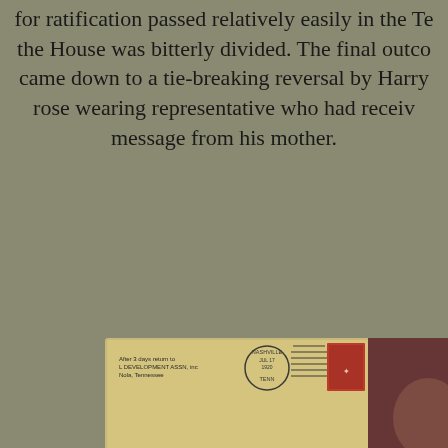for ratification passed relatively easily in the Tennessee Senate, but the House was bitterly divided. The final outcome came down to a tie-breaking reversal by Harry Burn, a red rose wearing representative who had received a last-minute message from his mother.
[Figure (photo): A yellowed envelope addressed to Hon. H.T. Burn, Nashville, State Capitol, Tenn., with a red postage stamp and Nashville postmark]
[Figure (photo): Partial photograph of a person, cropped at right edge of page]